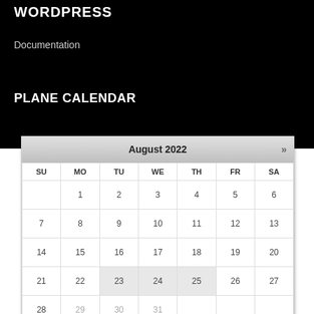WORDPRESS
Documentation
PLANE CALENDAR
[Figure (other): August 2022 calendar widget showing a monthly grid with days SU through SA, dates 1-31 for August 2022, with some dates greyed out (29, 30, 31) and highlighted rows (23, 24, 25). Navigation arrow >> on the right. September 2022 header at bottom.]